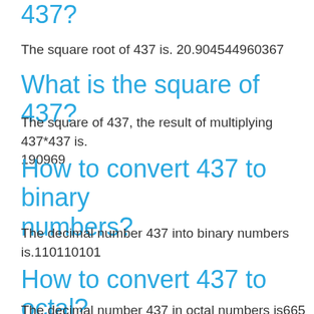437?
The square root of 437 is. 20.904544960367
What is the square of 437?
The square of 437, the result of multiplying 437*437 is. 190969
How to convert 437 to binary numbers?
The decimal number 437 into binary numbers is.110110101
How to convert 437 to octal?
The decimal number 437 in octal numbers is665
How to convert 437 t…